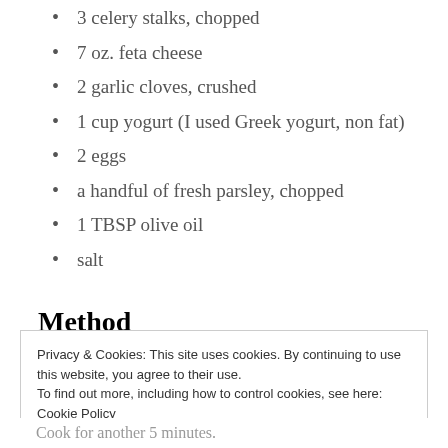3 celery stalks, chopped
7 oz. feta cheese
2 garlic cloves, crushed
1 cup yogurt (I used Greek yogurt, non fat)
2 eggs
a handful of fresh parsley, chopped
1 TBSP olive oil
salt
Method
Privacy & Cookies: This site uses cookies. By continuing to use this website, you agree to their use.
To find out more, including how to control cookies, see here: Cookie Policy
Close and accept
Cook for another 5 minutes.